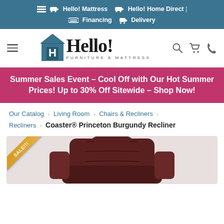Hello! Mattress  Hello! Home Direct |  Financing  Delivery
[Figure (logo): Hello! Furniture & Mattress logo with house icon containing letter H]
Summer Sales Event – Cool Off with Our Hot Summer Prices! Up to 30% Off Sitewide – Shop Now!
Our Catalog › Living Room › Chairs & Recliners › Recliners › Coaster® Princeton Burgundy Recliner
[Figure (photo): Burgundy leather recliner chair with SALE!!! badge in top left corner]